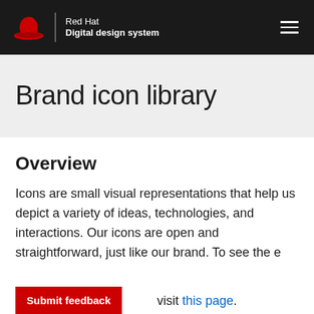Red Hat Digital design system
Brand icon library
Overview
Icons are small visual representations that help us depict a variety of ideas, technologies, and interactions. Our icons are open and straightforward, just like our brand. To see the e… visit this page.
Submit feedback